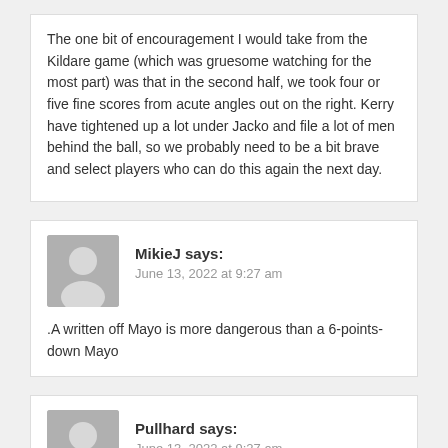The one bit of encouragement I would take from the Kildare game (which was gruesome watching for the most part) was that in the second half, we took four or five fine scores from acute angles out on the right. Kerry have tightened up a lot under Jacko and file a lot of men behind the ball, so we probably need to be a bit brave and select players who can do this again the next day.
MikieJ says:
June 13, 2022 at 9:27 am
.A written off Mayo is more dangerous than a 6-points-down Mayo
Pullhard says:
June 13, 2022 at 9:27 am